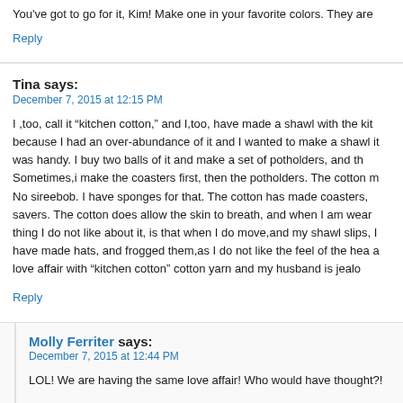You've got to go for it, Kim! Make one in your favorite colors. They are
Reply
Tina says:
December 7, 2015 at 12:15 PM
I ,too, call it “kitchen cotton,” and I,too, have made a shawl with the kit because I had an over-abundance of it and I wanted to make a shawl it was handy. I buy two balls of it and make a set of potholders, and th Sometimes,i make the coasters first, then the potholders. The cotton m No sireebob. I have sponges for that. The cotton has made coasters, savers. The cotton does allow the skin to breath, and when I am wear thing I do not like about it, is that when I do move,and my shawl slips, I have made hats, and frogged them,as I do not like the feel of the hea a love affair with “kitchen cotton” cotton yarn and my husband is jealo
Reply
Molly Ferriter says:
December 7, 2015 at 12:44 PM
LOL! We are having the same love affair! Who would have thought?!